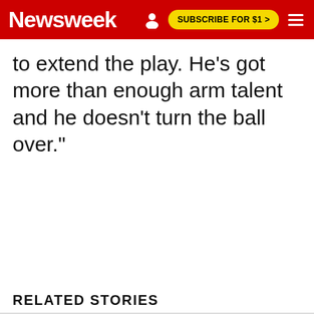Newsweek | SUBSCRIBE FOR $1 >
to extend the play. He's got more than enough arm talent and he doesn't turn the ball over."
RELATED STORIES